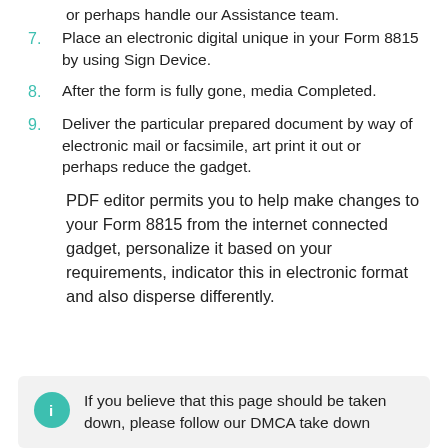or perhaps handle our Assistance team.
7. Place an electronic digital unique in your Form 8815 by using Sign Device.
8. After the form is fully gone, media Completed.
9. Deliver the particular prepared document by way of electronic mail or facsimile, art print it out or perhaps reduce the gadget.
PDF editor permits you to help make changes to your Form 8815 from the internet connected gadget, personalize it based on your requirements, indicator this in electronic format and also disperse differently.
If you believe that this page should be taken down, please follow our DMCA take down